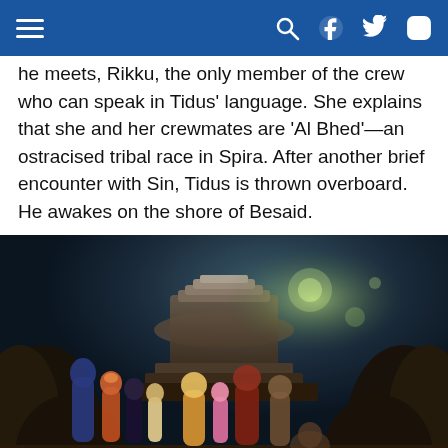Navigation bar with hamburger menu, search, Facebook, Twitter, Instagram icons
he meets, Rikku, the only member of the crew who can speak in Tidus' language. She explains that she and her crewmates are 'Al Bhed'—an ostracised tribal race in Spira. After another brief encounter with Sin, Tidus is thrown overboard. He awakes on the shore of Besaid.
[Figure (screenshot): Screenshot from Final Fantasy X showing a group of characters — including Tidus, Yuna, Wakka, Lulu, Kimahri, Auron, and Rikku — standing in front of a large ancient stone structure with a glowing mystical background.]